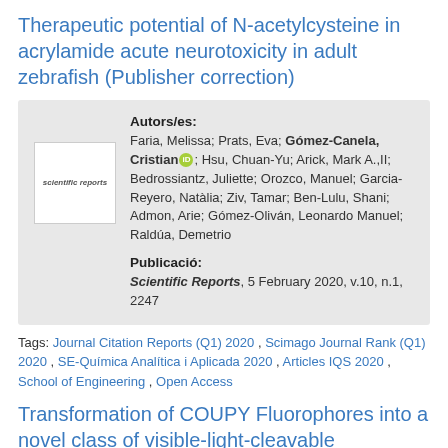Therapeutic potential of N-acetylcysteine in acrylamide acute neurotoxicity in adult zebrafish (Publisher correction)
Autors/es: Faria, Melissa; Prats, Eva; Gómez-Canela, Cristian [ORCID]; Hsu, Chuan-Yu; Arick, Mark A.,II; Bedrossiantz, Juliette; Orozco, Manuel; Garcia-Reyero, Natàlia; Ziv, Tamar; Ben-Lulu, Shani; Admon, Arie; Gómez-Oliván, Leonardo Manuel; Raldúa, Demetrio
Publicació: Scientific Reports, 5 February 2020, v.10, n.1, 2247
Tags: Journal Citation Reports (Q1) 2020 , Scimago Journal Rank (Q1) 2020 , SE-Química Analítica i Aplicada 2020 , Articles IQS 2020 , School of Engineering , Open Access
Transformation of COUPY Fluorophores into a novel class of visible-light-cleavable